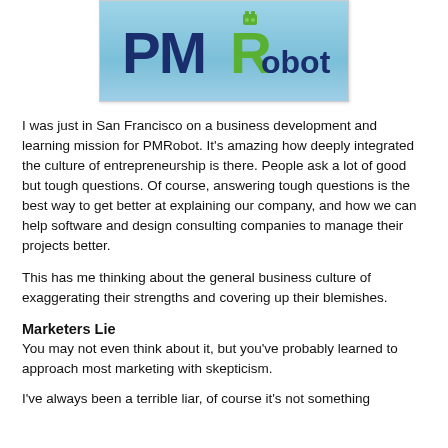[Figure (logo): PMRobot logo on light blue gradient background. Bold dark blue 'PM' letters and green robot-styled 'R' with 'obot' in dark blue.]
I was just in San Francisco on a business development and learning mission for PMRobot. It's amazing how deeply integrated the culture of entrepreneurship is there. People ask a lot of good but tough questions. Of course, answering tough questions is the best way to get better at explaining our company, and how we can help software and design consulting companies to manage their projects better.
This has me thinking about the general business culture of exaggerating their strengths and covering up their blemishes.
Marketers Lie
You may not even think about it, but you've probably learned to approach most marketing with skepticism.
I've always been a terrible liar, of course it's not something